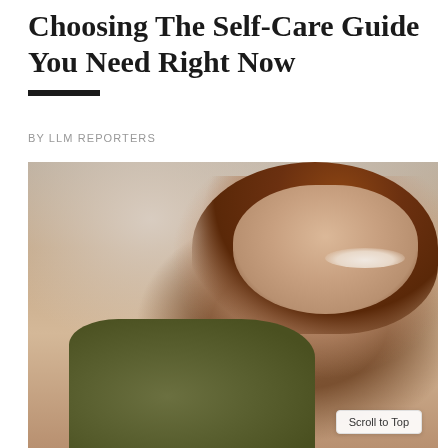Choosing The Self-Care Guide You Need Right Now
BY LLM REPORTERS
[Figure (photo): Smiling woman with auburn hair, wearing an olive/dark green jacket, hand raised behind her head, laughing against a blurred indoor background.]